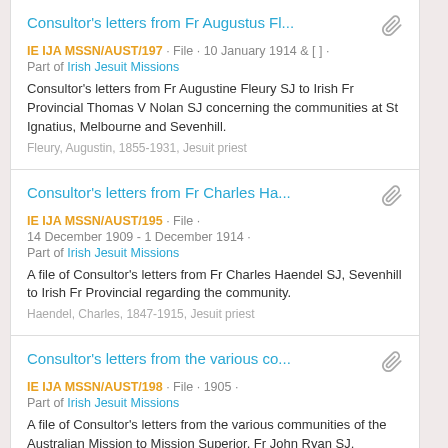Consultor's letters from Fr Augustus Fl... | IE IJA MSSN/AUST/197 · File · 10 January 1914 & [] · Part of Irish Jesuit Missions | Consultor's letters from Fr Augustine Fleury SJ to Irish Fr Provincial Thomas V Nolan SJ concerning the communities at St Ignatius, Melbourne and Sevenhill. | Fleury, Augustin, 1855-1931, Jesuit priest
Consultor's letters from Fr Charles Ha... | IE IJA MSSN/AUST/195 · File · 14 December 1909 - 1 December 1914 · Part of Irish Jesuit Missions | A file of Consultor's letters from Fr Charles Haendel SJ, Sevenhill to Irish Fr Provincial regarding the community. | Haendel, Charles, 1847-1915, Jesuit priest
Consultor's letters from the various co... | IE IJA MSSN/AUST/198 · File · 1905 · Part of Irish Jesuit Missions | A file of Consultor's letters from the various communities of the Australian Mission to Mission Superior, Fr John Ryan SJ.